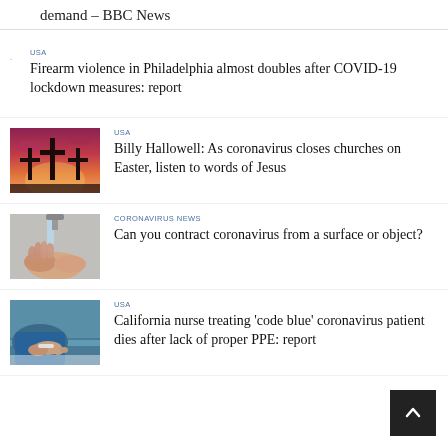demand – BBC News
USA
Firearm violence in Philadelphia almost doubles after COVID-19 lockdown measures: report
[Figure (photo): Crosses silhouetted against a red/purple sunset sky]
USA
Billy Hallowell: As coronavirus closes churches on Easter, listen to words of Jesus
[Figure (photo): Hands washing under a faucet]
CORONAVIRUS NEWS
Can you contract coronavirus from a surface or object?
[Figure (photo): Hospital patient in blue gown, close-up of arm and bed]
USA
California nurse treating 'code blue' coronavirus patient dies after lack of proper PPE: report